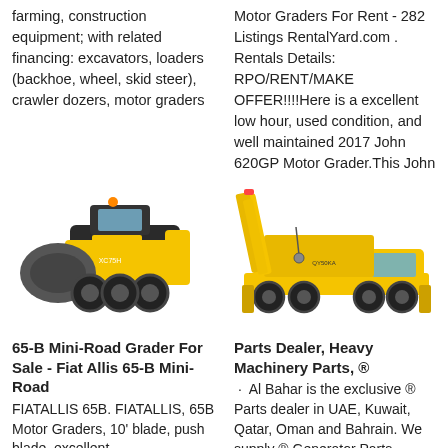farming, construction equipment; with related financing: excavators, loaders (backhoe, wheel, skid steer), crawler dozers, motor graders
Motor Graders For Rent - 282 Listings RentalYard.com . Rentals Details: RPO/RENT/MAKE OFFER!!!!Here is a excellent low hour, used condition, and well maintained 2017 John 620GP Motor Grader.This John
[Figure (photo): Yellow skid steer loader / mini motor grader construction equipment on white background]
[Figure (photo): Yellow mobile crane truck on white background]
65-B Mini-Road Grader For Sale - Fiat Allis 65-B Mini-Road
FIATALLIS 65B. FIATALLIS, 65B Motor Graders, 10' blade, push blade, excellent
Parts Dealer, Heavy Machinery Parts, ®
· Al Bahar is the exclusive ® Parts dealer in UAE, Kuwait, Qatar, Oman and Bahrain. We supply ® Generator Parts,